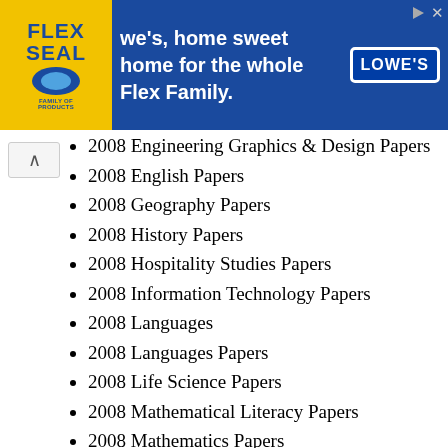[Figure (other): Advertisement banner: Flex Seal family of products logo on yellow background, text 'we's, home sweet home for the whole Flex Family.' with Lowe's logo on blue background]
2008 Engineering Graphics & Design Papers
2008 English Papers
2008 Geography Papers
2008 History Papers
2008 Hospitality Studies Papers
2008 Information Technology Papers
2008 Languages
2008 Languages Papers
2008 Life Science Papers
2008 Mathematical Literacy Papers
2008 Mathematics Papers
2008 Mechanical Technology Papers
2008 Music Papers